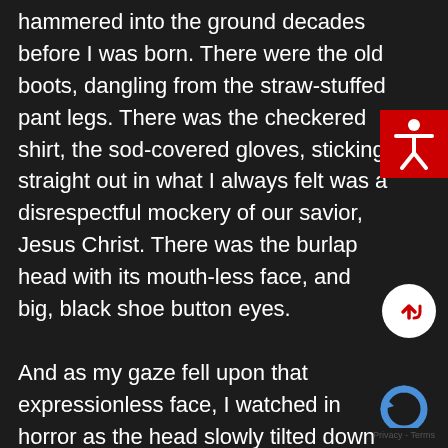hammered into the ground decades before I was born. There were the old boots, dangling from the straw-stuffed pant legs. There was the checkered shirt, the sod-covered gloves, sticking straight out in what I always felt was a disrespectful mockery of our savior, Jesus Christ. There was the burlap head with its mouth-less face, and big, black shoe button eyes.

And as my gaze fell upon that expressionless face, I watched in horror as the head slowly tilted down and turned to look directly at me.

In that instant, I knew I was locking
[Figure (illustration): Red accessibility icon button with white human figure silhouette]
[Figure (illustration): White circular scroll-up button with red upward arrow]
[Figure (illustration): Google reCAPTCHA logo and Privacy - Terms text]